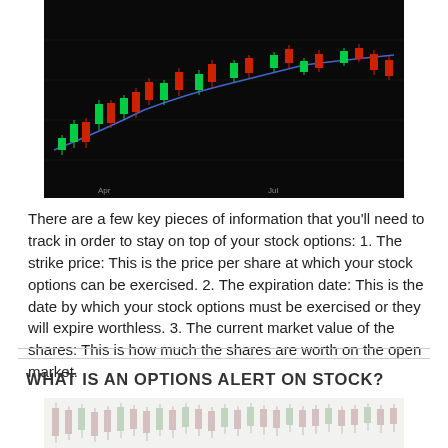[Figure (photo): Candlestick stock chart with red and green candles on a dark/black background, showing price movement with a blue trend line. X-axis shows month labels including 'Apr' and 'Jul'.]
There are a few key pieces of information that you'll need to track in order to stay on top of your stock options: 1. The strike price: This is the price per share at which your stock options can be exercised. 2. The expiration date: This is the date by which your stock options must be exercised or they will expire worthless. 3. The current market value of the shares: This is how much the shares are worth on the open market.
WHAT IS AN OPTIONS ALERT ON STOCK?
[Figure (photo): Candlestick stock chart with red and white/light candles on a light/faded background showing price movement.]